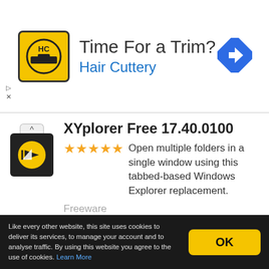[Figure (advertisement): Hair Cuttery ad banner with yellow HC logo, text 'Time For a Trim?' and 'Hair Cuttery', and a blue diamond navigation arrow icon.]
XYplorer Free 17.40.0100
Open multiple folders in a single window using this tabbed-based Windows Explorer replacement.
Freeware
Software News
Like every other website, this site uses cookies to deliver its services, to manage your account and to analyse traffic. By using this website you agree to the use of cookies. Learn More